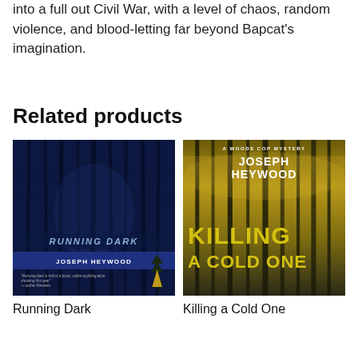into a full out Civil War, with a level of chaos, random violence, and blood-letting far beyond Bapcat's imagination.
Related products
[Figure (photo): Book cover of 'Running Dark' by Joseph Heywood — dark blue forest scene with bare trees, author name at bottom, small pine tree icon.]
[Figure (photo): Book cover of 'Killing a Cold One' by Joseph Heywood — yellow-green misty forest scene, 'A Woods Cop Mystery' at top, large yellow title text.]
Running Dark
Killing a Cold One